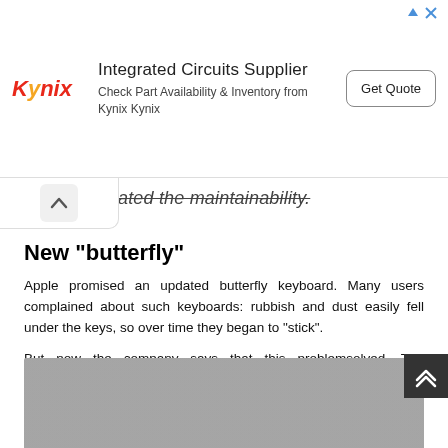[Figure (other): Kynix advertisement banner: Integrated Circuits Supplier. Check Part Availability & Inventory from Kynix Kynix. Get Quote button.]
ated the maintainability.
New "butterfly"
Apple promised an updated butterfly keyboard. Many users complained about such keyboards: rubbish and dust easily fell under the keys, so over time they began to “stick”.
But now the company says that this problemsolved. The mechanism remained the same, but the materials are different. And iFixit experts confirm that. Whether they will save from breakdowns - time will tell, but in any case, Apple promises to repair defective keyboards in the MacBook Pro for free.
[Figure (photo): Partial photo at bottom of page, showing a grey/silver surface, likely a MacBook keyboard or device surface.]